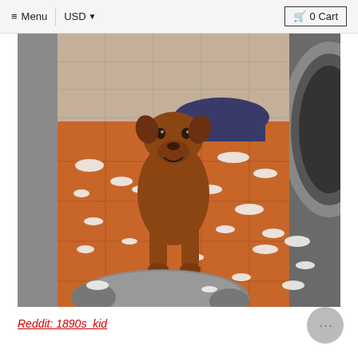≡ Menu | USD ▼   🛒 0 Cart
[Figure (photo): A brown dog sitting on an orange tiled bathroom floor surrounded by torn white stuffing/foam pieces from a destroyed dog bed. A washing machine drum is visible on the right side. A ripped dark blue fabric item is in the background. A destroyed grey dog bed is in the foreground.]
Reddit: 1890s_kid